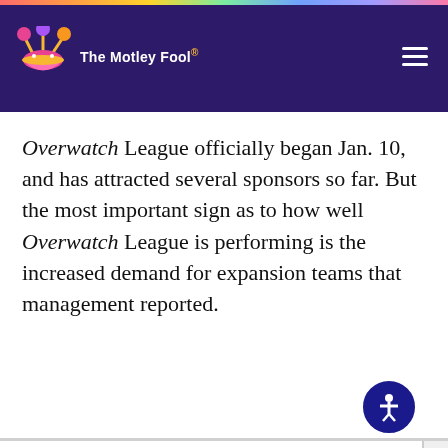The Motley Fool
Overwatch League officially began Jan. 10, and has attracted several sponsors so far. But the most important sign as to how well Overwatch League is performing is the increased demand for expansion teams that management reported.
This website uses cookies to deliver our services and to analyze traffic. We also share information about your use of our site with advertising and other partners. Privacy Policy
Got it
Cookie Settings